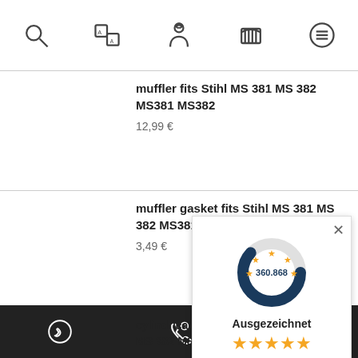Navigation icons: search, translate, person, cart, menu
muffler fits Stihl MS 381 MS 382 MS381 MS382
12,99 €
muffler gasket fits Stihl MS 381 MS 382 MS381 MS382
3,49 €
cylindrical pin for thro… Stihl MS 381 MS 382 MS…
1,99 €
[Figure (infographic): Rating popup showing donut chart with 360.868 reviews, Ausgezeichnet label, 5 gold stars, score 5.00/5.00, footnote about 2 Verkaufs- und 2 Bewertungsplattformen]
Footer icons: WhatsApp, phone support, Facebook